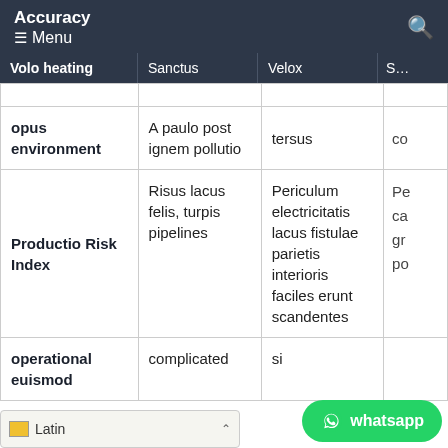Accuracy Menu
| Volo heating | Sanctus | Velox | S… |
| --- | --- | --- | --- |
| opus environment | A paulo post ignem pollutio | tersus | co |
| Productio Risk Index | Risus lacus felis, turpis pipelines | Periculum electricitatis lacus fistulae parietis interioris faciles erunt scandentes | Pe ca gr po |
| operational euismod | complicated | si… |  |